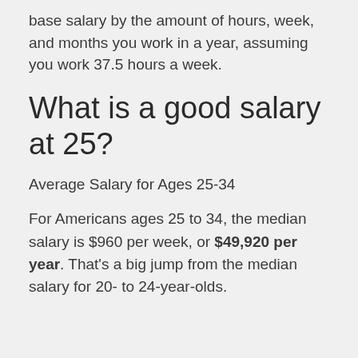base salary by the amount of hours, week, and months you work in a year, assuming you work 37.5 hours a week.
What is a good salary at 25?
Average Salary for Ages 25-34
For Americans ages 25 to 34, the median salary is $960 per week, or $49,920 per year. That's a big jump from the median salary for 20- to 24-year-olds.